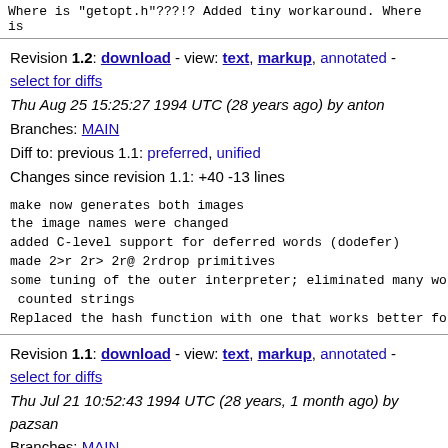Where is "getopt.h"???!? Added tiny workaround. Where is
Revision 1.2: download - view: text, markup, annotated - select for diffs
Thu Aug 25 15:25:27 1994 UTC (28 years ago) by anton
Branches: MAIN
Diff to: previous 1.1: preferred, unified
Changes since revision 1.1: +40 -13 lines
make now generates both images
the image names were changed
added C-level support for deferred words (dodefer)
made 2>r 2r> 2r@ 2rdrop primitives
some tuning of the outer interpreter; eliminated many wor
 counted strings
Replaced the hash function with one that works better for
Revision 1.1: download - view: text, markup, annotated - select for diffs
Thu Jul 21 10:52:43 1994 UTC (28 years, 1 month ago) by pazsan
Branches: MAIN
Added dictionary hashing
Changed argument interpretation as documented
Made refill for DOS 20 times faster
Added m*/ and missing FP words.